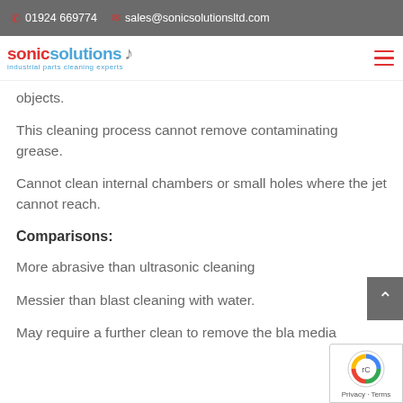01924 669774  sales@sonicsolutionsltd.com
[Figure (logo): Sonic Solutions logo with text 'sonic solutions industrial parts cleaning experts' and wave icon]
objects.
This cleaning process cannot remove contaminating grease.
Cannot clean internal chambers or small holes where the jet cannot reach.
Comparisons:
More abrasive than ultrasonic cleaning
Messier than blast cleaning with water.
May require a further clean to remove the bla media